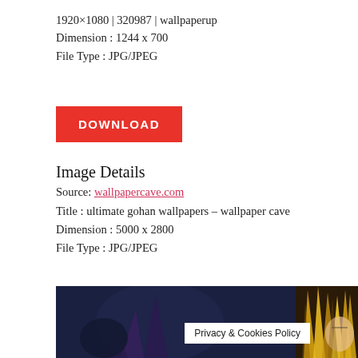1920×1080 | 320987 | wallpaperup
Dimension : 1244 x 700
File Type : JPG/JPEG
DOWNLOAD
Image Details
Source: wallpapercave.com
Title : ultimate gohan wallpapers – wallpaper cave
Dimension : 5000 x 2800
File Type : JPG/JPEG
[Figure (illustration): Dark anime wallpaper preview showing characters with golden spiky hair against a dark navy background, with a Privacy & Cookies Policy badge overlay]